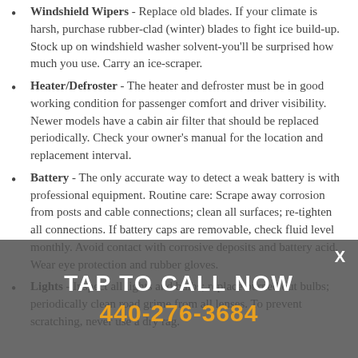Windshield Wipers - Replace old blades. If your climate is harsh, purchase rubber-clad (winter) blades to fight ice build-up. Stock up on windshield washer solvent-you'll be surprised how much you use. Carry an ice-scraper.
Heater/Defroster - The heater and defroster must be in good working condition for passenger comfort and driver visibility. Newer models have a cabin air filter that should be replaced periodically. Check your owner's manual for the location and replacement interval.
Battery - The only accurate way to detect a weak battery is with professional equipment. Routine care: Scrape away corrosion from posts and cable connections; clean all surfaces; re-tighten all connections. If battery caps are removable, check fluid level monthly. Avoid contact with corrosive deposits and battery acid. Wear eye protection and rubber gloves.
Lights - Inspect all lights and bulbs; replace burned out bulbs; periodically clean road grime from all lenses. To prevent scratching, never use a dry rag.
TAP TO CALL NOW
440-276-3684